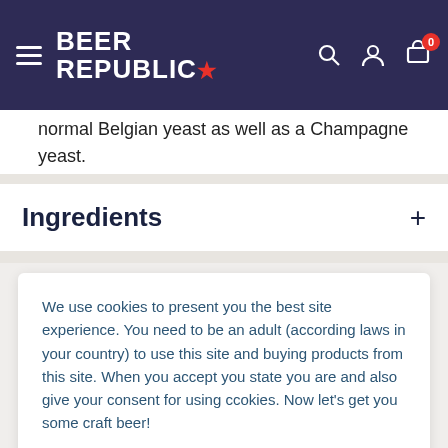BEER REPUBLIC
normal Belgian yeast as well as a Champagne yeast.
Ingredients
We use cookies to present you the best site experience. You need to be an adult (according laws in your country) to use this site and buying products from this site. When you accept you state you are and also give your consent for using ccokies. Now let's get you some craft beer!
Got it!